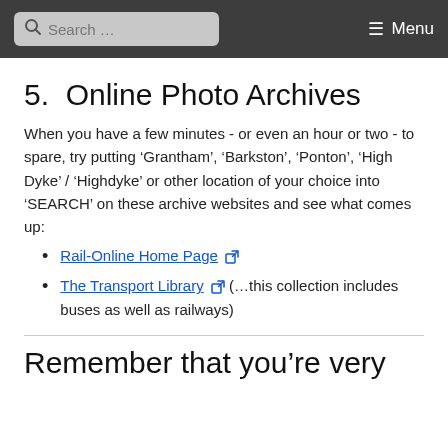Search ... Menu
5.  Online Photo Archives
When you have a few minutes - or even an hour or two - to spare, try putting ‘Grantham’, ‘Barkston’, ‘Ponton’, ‘High Dyke’ / ‘Highdyke’ or other location of your choice into ‘SEARCH’ on these archive websites and see what comes up:
Rail-Online Home Page [external link]
The Transport Library [external link] (...this collection includes buses as well as railways)
Remember that you’re very